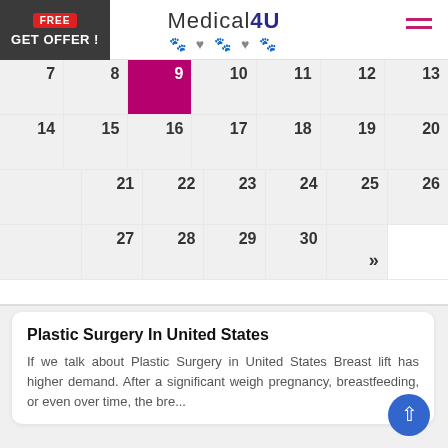[Figure (screenshot): Medical4U website header with logo, free offer box on left, and hamburger menu icon on right]
[Figure (other): Calendar showing dates 7-13 (row 1), 14-20 (row 2), 21-26 (row 3), 27-30 with navigation arrow (row 4). Date 9 is highlighted in purple/magenta.]
Plastic Surgery In United States
If we talk about Plastic Surgery in United States Breast lift has higher demand. After a significant weight pregnancy, breastfeeding, or even over time, the breasts may lose their original figure...